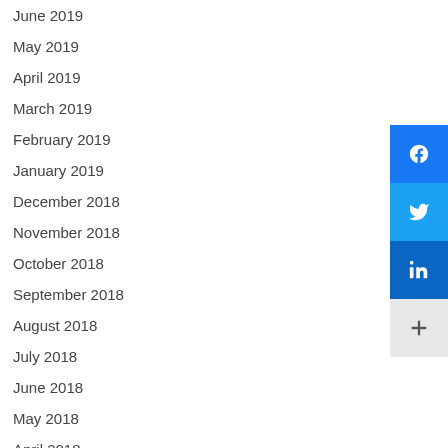June 2019
May 2019
April 2019
March 2019
February 2019
January 2019
December 2018
November 2018
October 2018
September 2018
August 2018
July 2018
June 2018
May 2018
April 2018
March 2018
[Figure (screenshot): Social media sharing buttons sidebar: Facebook (blue), Twitter (light blue), LinkedIn (dark blue), and a plus/more button (gray)]